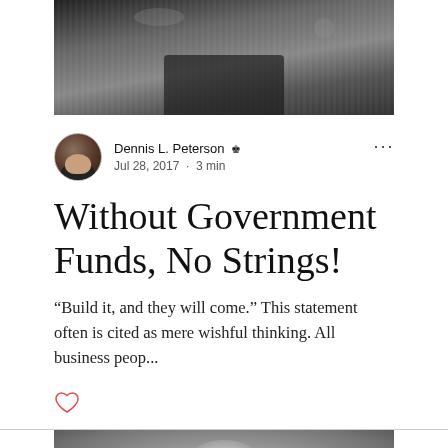[Figure (photo): Black and white photo (top portion visible) — dark jacket/coat on a person, cropped]
Dennis L. Peterson 👑
Jul 28, 2017  ·  3 min
Without Government Funds, No Strings!
“Build it, and they will come.” This statement often is cited as mere wishful thinking. All business peop...
[Figure (photo): Black and white photo at the bottom — partial view of a person's head with white/gray hair]